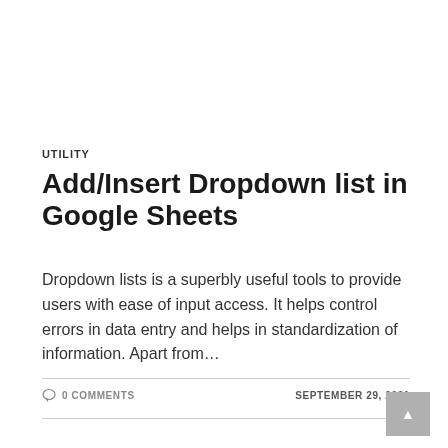UTILITY
Add/Insert Dropdown list in Google Sheets
Dropdown lists is a superbly useful tools to provide users with ease of input access. It helps control errors in data entry and helps in standardization of information. Apart from…
0 COMMENTS
SEPTEMBER 29, 2021